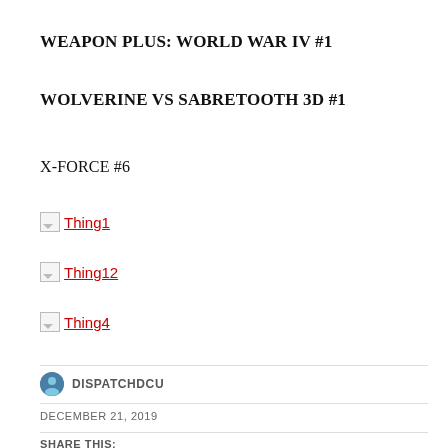WEAPON PLUS: WORLD WAR IV #1
WOLVERINE VS SABRETOOTH 3D #1
X-FORCE #6
[Figure (illustration): Broken image placeholder with red hyperlink label 'Thing1']
[Figure (illustration): Broken image placeholder with red hyperlink label 'Thing12']
[Figure (illustration): Broken image placeholder with red hyperlink label 'Thing4']
DISPATCHDCU
DECEMBER 21, 2019
SHARE THIS: